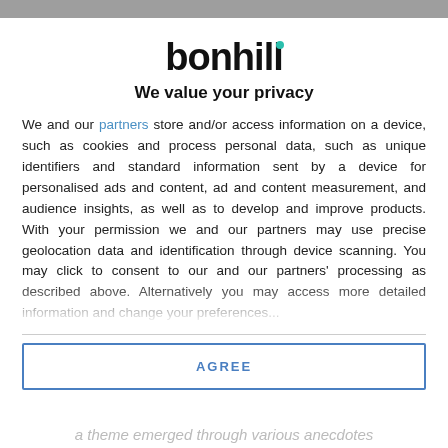[Figure (logo): Bonhill logo — bold black lowercase text 'bonhill' with a small teal/green dot above the letter 'i']
We value your privacy
We and our partners store and/or access information on a device, such as cookies and process personal data, such as unique identifiers and standard information sent by a device for personalised ads and content, ad and content measurement, and audience insights, as well as to develop and improve products. With your permission we and our partners may use precise geolocation data and identification through device scanning. You may click to consent to our and our partners' processing as described above. Alternatively you may access more detailed information...
AGREE
MORE OPTIONS
a theme emerged through various anecdotes